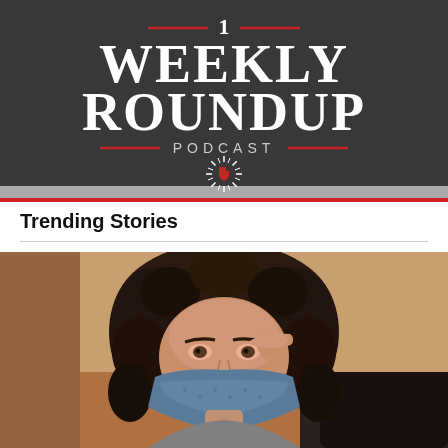[Figure (logo): Weekly Roundup Podcast logo on dark gray background with red decorative lines, number 1 at top, large serif text reading WEEKLY ROUNDUP, PODCAST label with red lines on sides, Texas star/burst emblem below]
Trending Stories
[Figure (photo): Woman with long curly dark hair wearing a blue patterned face mask, raising her hand to her forehead, partial view, indoor setting with dark chair visible]